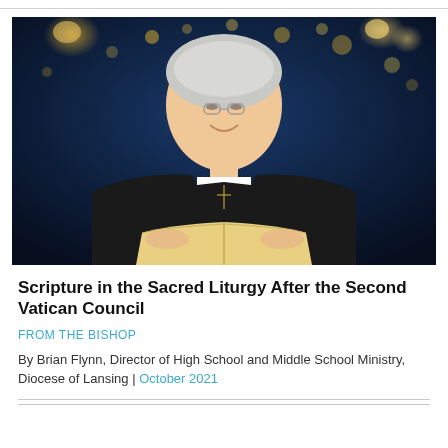[Figure (photo): A smiling older man with white/gray hair and glasses, wearing black clerical attire with a cross necklace, holding an open book (Bible) with golden pages. Background is a dark blue bokeh with golden light spots.]
Scripture in the Sacred Liturgy After the Second Vatican Council
FROM THE BISHOP
By Brian Flynn, Director of High School and Middle School Ministry, Diocese of Lansing | October 2021